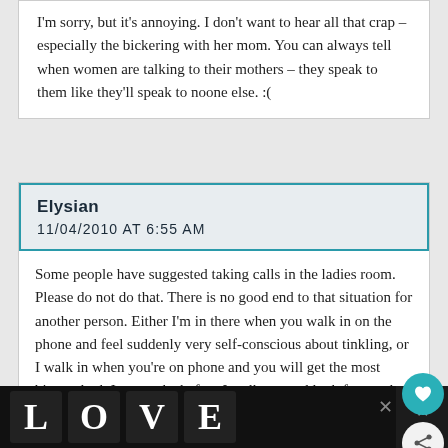I'm sorry, but it's annoying. I don't want to hear all that crap – especially the bickering with her mom. You can always tell when women are talking to their mothers – they speak to them like they'll speak to noone else. :(
Elysian
11/04/2010 AT 6:55 AM
Some people have suggested taking calls in the ladies room. Please do not do that. There is no good end to that situation for another person. Either I'm in there when you walk in on the phone and feel suddenly very self-conscious about tinkling, or I walk in when you're on phone and you will get the most bizarre look I can make before I walk out and look for another bathroom. That room has a purpose, and it is not one well shared
[Figure (other): Advertisement banner at the bottom showing 'LOVE' text art with decorative letter illustrations in black and white]